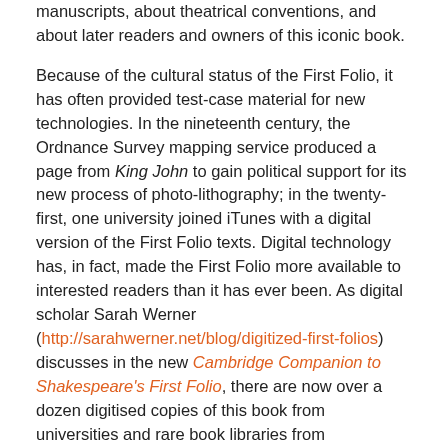manuscripts, about theatrical conventions, and about later readers and owners of this iconic book.
Because of the cultural status of the First Folio, it has often provided test-case material for new technologies. In the nineteenth century, the Ordnance Survey mapping service produced a page from King John to gain political support for its new process of photo-lithography; in the twenty-first, one university joined iTunes with a digital version of the First Folio texts. Digital technology has, in fact, made the First Folio more available to interested readers than it has ever been. As digital scholar Sarah Werner (http://sarahwerner.net/blog/digitized-first-folios) discusses in the new Cambridge Companion to Shakespeare's First Folio, there are now over a dozen digitised copies of this book from universities and rare book libraries from Pennsylvania (http://sceti.library.upenn.edu/sceti/printedbooksNew/index.cfm?textID=firstfolio&PagePosition=1) to Japan (http://shakes.meisei-u.ac.jp/e-index.html) and from New South Wales (http://internetshakespeare.uvic.ca/Library/facsimile/book/SLNSW_F to St-Omer (http://www.purl.org/yoolib/bmsaintomer/19039).
Just as the First Folio itself comes with built-in book technology – a table of contents, running headers, page numbers (not always